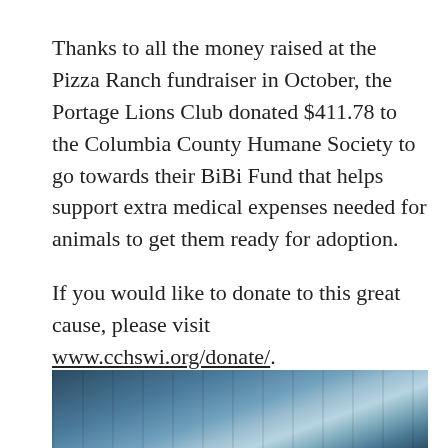Thanks to all the money raised at the Pizza Ranch fundraiser in October, the Portage Lions Club donated $411.78 to the Columbia County Humane Society to go towards their BiBi Fund that helps support extra medical expenses needed for animals to get them ready for adoption.
If you would like to donate to this great cause, please visit www.cchswi.org/donate/.
[Figure (photo): Partial outdoor photo, appears to show trees or an outdoor scene with blue-toned lighting, cropped at the bottom of the page.]